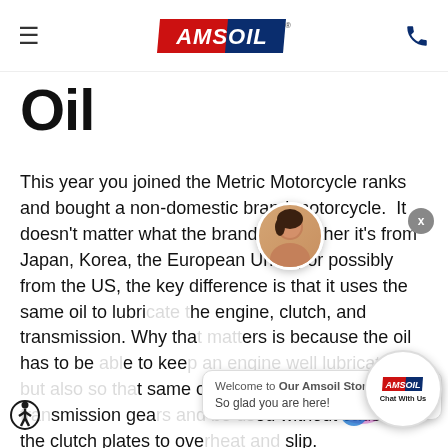AMSOIL — navigation header with hamburger menu and phone icon
Oil
This year you joined the Metric Motorcycle ranks and bought a non-domestic brand motorcycle.  It doesn't matter what the brand is, whether it's from Japan, Korea, the European Union, or possibly from the US, the key difference is that it uses the same oil to lubricate the engine, clutch, and transmission.  Why that matters is because the oil has to be able to keep an engine well lubricated but also so that same oil can flow through the transmission gears and be used without causing the clutch plates to overheat and slip.
[Figure (other): Live chat widget overlay showing an avatar of a woman, welcome message 'Welcome to Our Amsoil Store!' and 'So glad you are here!', close X button, and circular Amsoil Chat With Us button with decorative purple and blue circles]